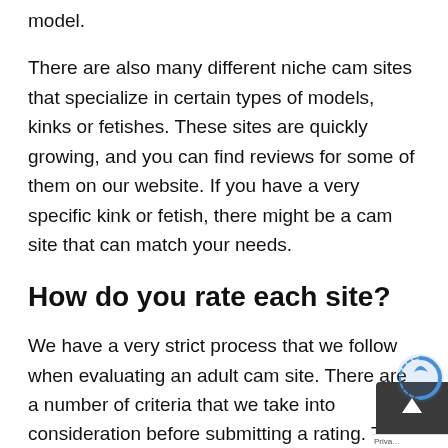model.
There are also many different niche cam sites that specialize in certain types of models, kinks or fetishes. These sites are quickly growing, and you can find reviews for some of them on our website. If you have a very specific kink or fetish, there might be a cam site that can match your needs.
How do you rate each site?
We have a very strict process that we follow when evaluating an adult cam site. There are a number of criteria that we take into consideration before submitting a rating. This process ensures that all of our reviews are completely accurate and not biased in any way. We go through the same experience as any ordinary user before writing up